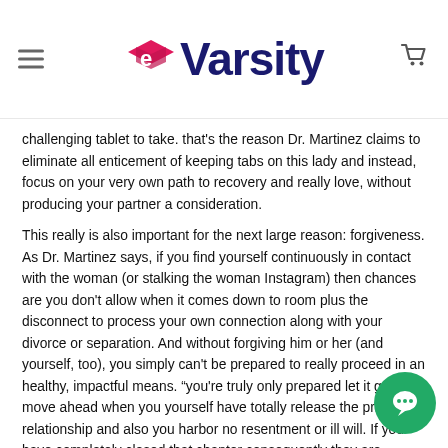eVarsity
challenging tablet to take. that's the reason Dr. Martinez claims to eliminate all enticement of keeping tabs on this lady and instead, focus on your very own path to recovery and really love, without producing your partner a consideration.
This really is also important for the next large reason: forgiveness. As Dr. Martinez says, if you find yourself continuously in contact with the woman (or stalking the woman Instagram) then chances are you don't allow when it comes down to room plus the disconnect to process your own connection along with your divorce or separation. And without forgiving him or her (and yourself, too), you simply can't be prepared to really proceed in an healthy, impactful means. “you're truly only prepared let it go and move ahead when you yourself have totally release the prior relationship and also you harbor no resentment or ill will. If you have completely closed that chapter consequently they are getting excited about moving on in your existence, then you're prepared approach a fresh potential companionship,” she claims.